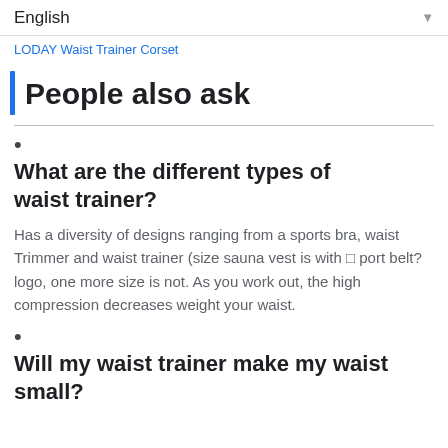English
LODAY Waist Trainer Corset
People also ask
What are the different types of waist trainer?
Has a diversity of designs ranging from a sports bra, waist Trimmer and waist trainer (size sauna vest is with  port belt?logo, one more size is not. As you work out, the high compression decreases weight your waist.
Will my waist trainer make my waist small?